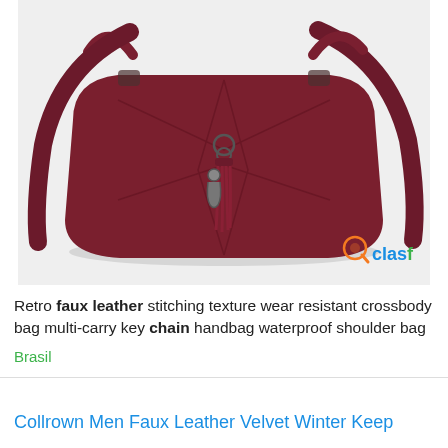[Figure (photo): A dark red/burgundy faux leather crossbody handbag with braided handles, a keychain tassel decoration, and a shoulder strap, displayed on a light grey background. The Clasf logo appears in the bottom right corner of the image.]
Retro faux leather stitching texture wear resistant crossbody bag multi-carry key chain handbag waterproof shoulder bag
Brasil
Collrown Men Faux Leather Velvet Winter Keep